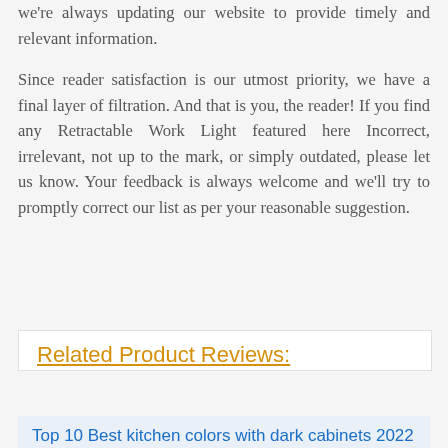we're always updating our website to provide timely and relevant information.
Since reader satisfaction is our utmost priority, we have a final layer of filtration. And that is you, the reader! If you find any Retractable Work Light featured here Incorrect, irrelevant, not up to the mark, or simply outdated, please let us know. Your feedback is always welcome and we'll try to promptly correct our list as per your reasonable suggestion.
Related Product Reviews:
Top 10 Best kitchen colors with dark cabinets 2022